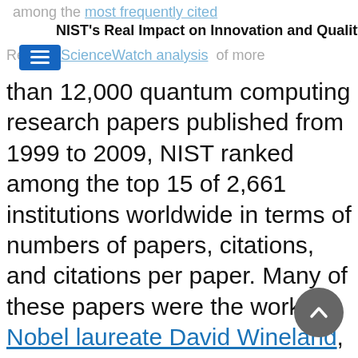among the most frequently cited
NIST's Real Impact on Innovation and Quality of Life
Reuters ScienceWatch analysis of more than 12,000 quantum computing research papers published from 1999 to 2009, NIST ranked among the top 15 of 2,661 institutions worldwide in terms of numbers of papers, citations, and citations per paper. Many of these papers were the work of Nobel laureate David Wineland, who also has one patent and was elected a fellow of the National Academy of Inventors. (Further evidence